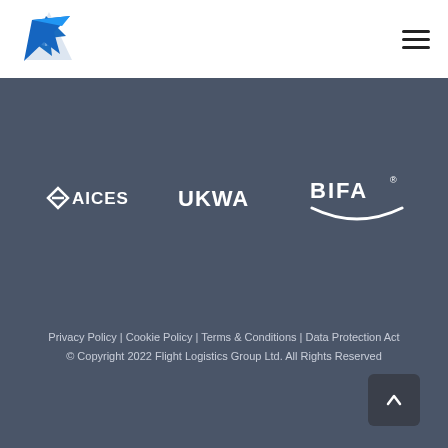[Figure (logo): Flight Logistics Group blue arrow/star logo in header]
[Figure (logo): Hamburger menu icon (three horizontal lines) in header top right]
[Figure (logo): AICES logo in white on dark grey footer background]
[Figure (logo): UKWA logo in white on dark grey footer background]
[Figure (logo): BIFA logo in white on dark grey footer background]
Privacy Policy | Cookie Policy | Terms & Conditions | Data Protection Act
© Copyright 2022 Flight Logistics Group Ltd. All Rights Reserved